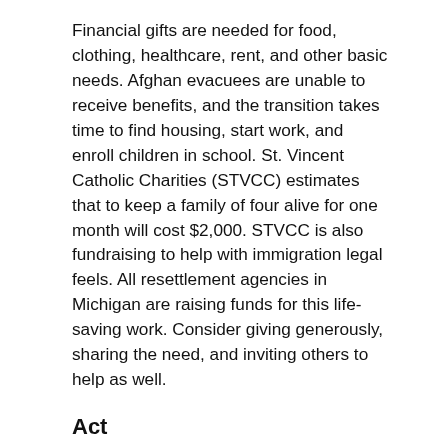Financial gifts are needed for food, clothing, healthcare, rent, and other basic needs. Afghan evacuees are unable to receive benefits, and the transition takes time to find housing, start work, and enroll children in school. St. Vincent Catholic Charities (STVCC) estimates that to keep a family of four alive for one month will cost $2,000. STVCC is also fundraising to help with immigration legal feels. All resettlement agencies in Michigan are raising funds for this life-saving work. Consider giving generously, sharing the need, and inviting others to help as well.
Act
Pray for all involved
Share positive messages of welcome
Volunteer to help with resettlement agencies,